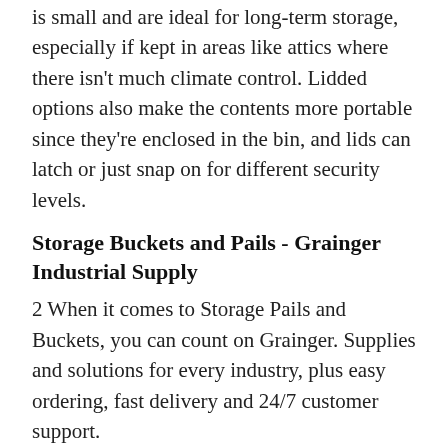is small and are ideal for long-term storage, especially if kept in areas like attics where there isn't much climate control. Lidded options also make the contents more portable since they're enclosed in the bin, and lids can latch or just snap on for different security levels.
Storage Buckets and Pails - Grainger Industrial Supply
2 When it comes to Storage Pails and Buckets, you can count on Grainger. Supplies and solutions for every industry, plus easy ordering, fast delivery and 24/7 customer support.
Plastic Containers With Lids : Target
2 8& 34;W X 4& 34;D X 8& 34;H Plastic Food Storage Container Clear - Made By Design . Made By Design Only at. target. ¬. 4.6 out of 5 stars with 135 ratings. 135. $10.00.
5 Gallon Buckets and Pails : The Co...